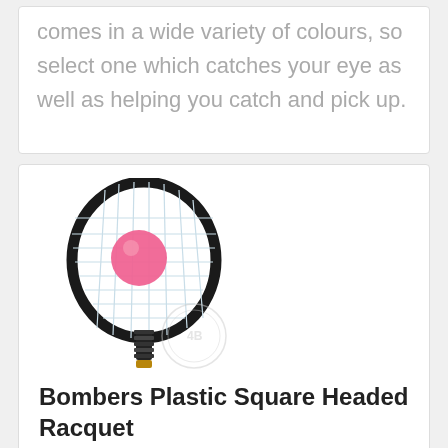comes in a wide variety of colours, so select one which catches your eye as well as helping you catch and pick up.
[Figure (photo): A black square-headed tennis/badminton racquet (Bombers brand) with a pink ball resting in the strings, displayed against a white background. A watermark logo is visible in the lower center area of the image.]
Bombers Plastic Square Headed Racquet
£95
The latest style of racket